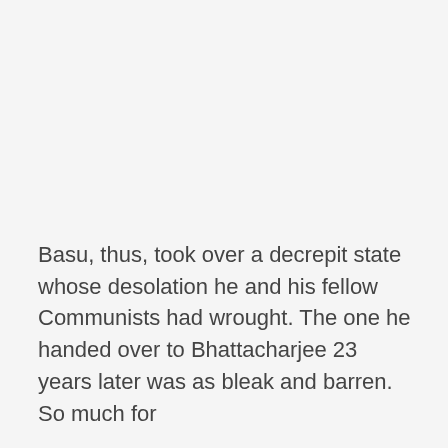Basu, thus, took over a decrepit state whose desolation he and his fellow Communists had wrought. The one he handed over to Bhattacharjee 23 years later was as bleak and barren. So much for